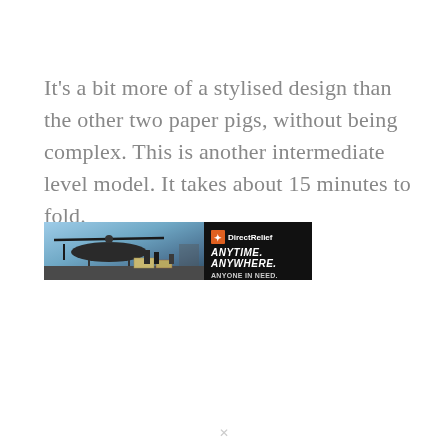It's a bit more of a stylised design than the other two paper pigs, without being complex. This is another intermediate level model. It takes about 15 minutes to fold.
[Figure (photo): Advertisement banner for Direct Relief charity showing a helicopter and ground crew unloading cargo crates on a tarmac, with text 'ANYTIME. ANYWHERE. ANYONE IN NEED.' on a black background with the Direct Relief logo.]